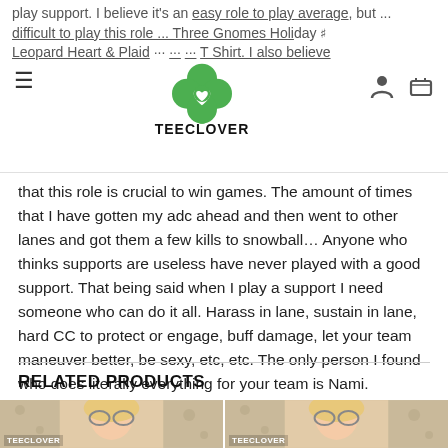play support. I believe it's an easy role to play average, but ... difficult to play this role ... Three Gnomes Holiday Leopard Heart & Plaid ... T Shirt. I also believe
that this role is crucial to win games. The amount of times that I have gotten my adc ahead and then went to other lanes and got them a few kills to snowball... Anyone who thinks supports are useless have never played with a good support. That being said when I play a support I need someone who can do it all. Harass in lane, sustain in lane, hard CC to protect or engage, buff damage, let your team maneuver better, be sexy, etc, etc. The only person I found who does literally everything for your team is Nami.
RELATED PRODUCTS
[Figure (photo): Product thumbnail showing woman with blonde hair, Teeclover brand label at bottom left]
[Figure (photo): Product thumbnail showing woman with blonde hair, Teeclover brand label at bottom left]